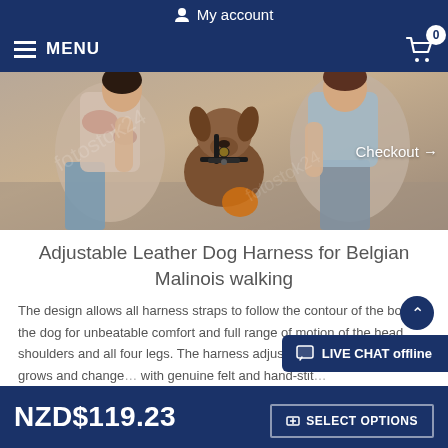My account
MENU
[Figure (photo): Two people crouching beside a Belgian Malinois dog wearing a leather harness, outdoors on a sunny day. A 'Checkout →' link is overlaid on the image.]
Adjustable Leather Dog Harness for Belgian Malinois walking
The design allows all harness straps to follow the contour of the body of the dog for unbeatable comfort and full range of motion of the head, shoulders and all four legs. The harness adjusts to fit your dog as he grows and change... with genuine felt and hand-stit...
NZD$119.23
LIVE CHAT offline
SELECT OPTIONS